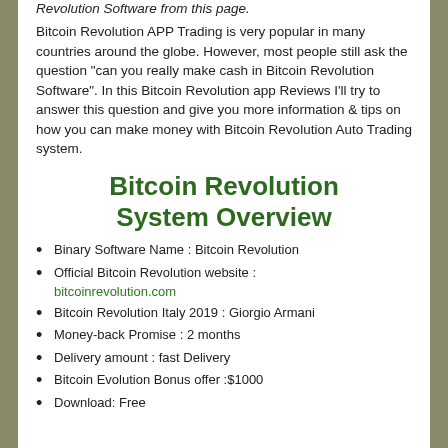Revolution Software from this page.
Bitcoin Revolution APP Trading is very popular in many countries around the globe. However, most people still ask the question “can you really make cash in Bitcoin Revolution Software”. In this Bitcoin Revolution app Reviews I’ll try to answer this question and give you more information & tips on how you can make money with Bitcoin Revolution Auto Trading system.
Bitcoin Revolution System Overview
Binary Software Name : Bitcoin Revolution
Official Bitcoin Revolution website : bitcoinrevolution.com
Bitcoin Revolution Italy 2019 : Giorgio Armani
Money-back Promise : 2 months
Delivery amount : fast Delivery
Bitcoin Evolution Bonus offer :$1000
Download: Free